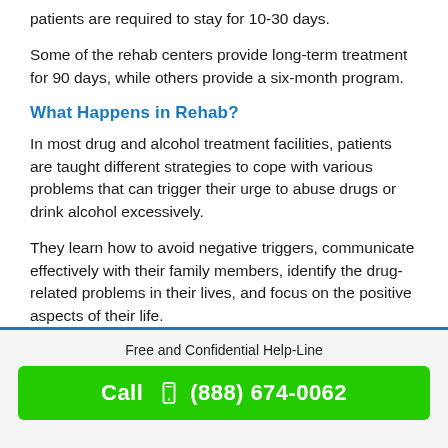patients are required to stay for 10-30 days.
Some of the rehab centers provide long-term treatment for 90 days, while others provide a six-month program.
What Happens in Rehab?
In most drug and alcohol treatment facilities, patients are taught different strategies to cope with various problems that can trigger their urge to abuse drugs or drink alcohol excessively.
They learn how to avoid negative triggers, communicate effectively with their family members, identify the drug-related problems in their lives, and focus on the positive aspects of their life.
Free and Confidential Help-Line
Call  (888) 674-0062